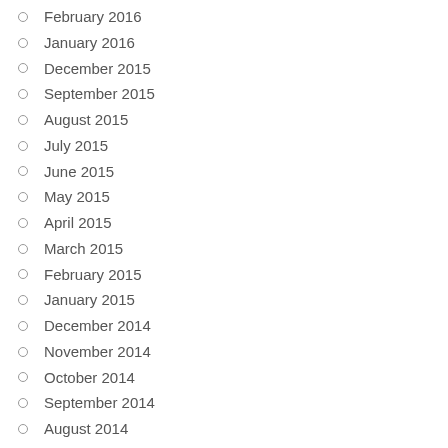February 2016
January 2016
December 2015
September 2015
August 2015
July 2015
June 2015
May 2015
April 2015
March 2015
February 2015
January 2015
December 2014
November 2014
October 2014
September 2014
August 2014
July 2014